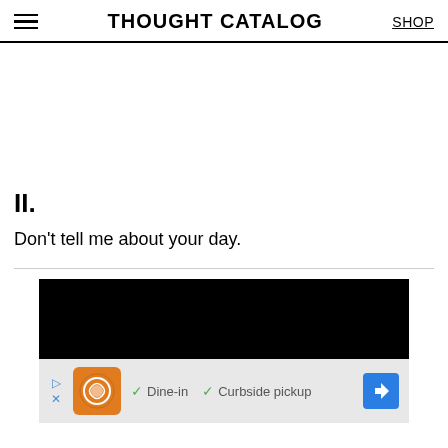THOUGHT CATALOG   SHOP
II.
Don’t tell me about your day.
[Figure (screenshot): Advertisement banner with black video area on top and ad info strip below showing a restaurant logo, checkmarks for Dine-in and Curbside pickup, and a navigation arrow icon.]